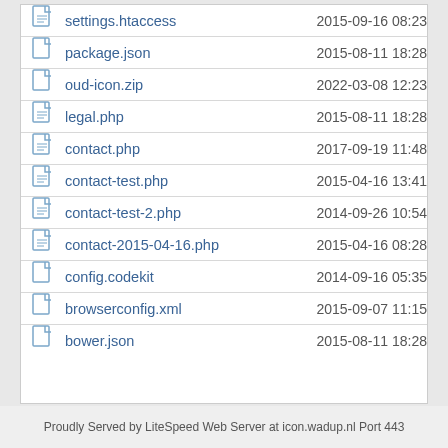|  | Name | Date |
| --- | --- | --- |
| [icon] | settings.htaccess | 2015-09-16 08:23 |
| [icon] | package.json | 2015-08-11 18:28 |
| [icon] | oud-icon.zip | 2022-03-08 12:23 |
| [icon] | legal.php | 2015-08-11 18:28 |
| [icon] | contact.php | 2017-09-19 11:48 |
| [icon] | contact-test.php | 2015-04-16 13:41 |
| [icon] | contact-test-2.php | 2014-09-26 10:54 |
| [icon] | contact-2015-04-16.php | 2015-04-16 08:28 |
| [icon] | config.codekit | 2014-09-16 05:35 |
| [icon] | browserconfig.xml | 2015-09-07 11:15 |
| [icon] | bower.json | 2015-08-11 18:28 |
Proudly Served by LiteSpeed Web Server at icon.wadup.nl Port 443